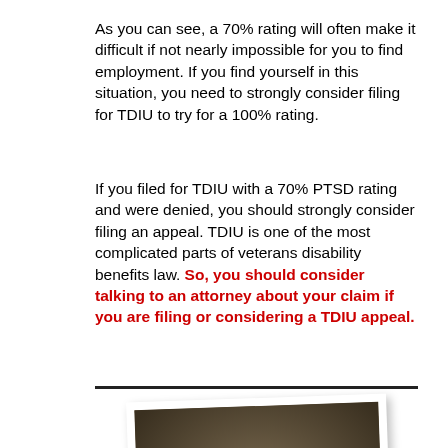As you can see, a 70% rating will often make it difficult if not nearly impossible for you to find employment.  If you find yourself in this situation, you need to strongly consider filing for TDIU to try for a 100% rating.
If you filed for TDIU with a 70% PTSD rating and were denied, you should strongly consider filing an appeal.  TDIU is one of the most complicated parts of veterans disability benefits law.  So, you should consider talking to an attorney about your claim if you are filing or considering a TDIU appeal.
[Figure (photo): Portrait photo of a man in professional attire against a dark brown studio background, shown from roughly chest up.]